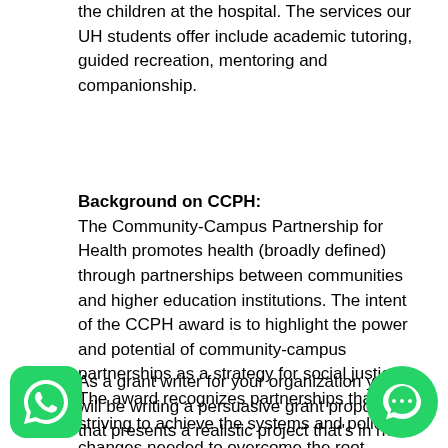the children at the hospital. The services our UH students offer include academic tutoring, guided recreation, mentoring and companionship.
Background on CCPH:
The Community-Campus Partnership for Health promotes health (broadly defined) through partnerships between communities and higher education institutions. The intent of the CCPH award is to highlight the power and potential of community-campus partnerships as a strategy for social justice. The award recognizes partnerships that are striving to achieve the systems and policy changes needed to overcome the root causes of health, social and economic inequalities.
As a grant writer for your organization you will be writing a persuasive grant proposal that presents a realistic project that's in need of funding. You will be applying to the CCPH with the purpose of being